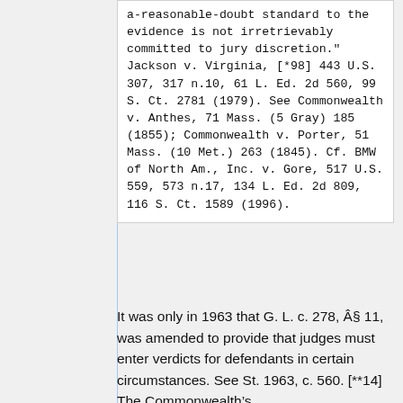a-reasonable-doubt standard to the evidence is not irretrievably committed to jury discretion." Jackson v. Virginia, [*98] 443 U.S. 307, 317 n.10, 61 L. Ed. 2d 560, 99 S. Ct. 2781 (1979). See Commonwealth v. Anthes, 71 Mass. (5 Gray) 185 (1855); Commonwealth v. Porter, 51 Mass. (10 Met.) 263 (1845). Cf. BMW of North Am., Inc. v. Gore, 517 U.S. 559, 573 n.17, 134 L. Ed. 2d 809, 116 S. Ct. 1589 (1996).
It was only in 1963 that G. L. c. 278, §11, was amended to provide that judges must enter verdicts for defendants in certain circumstances. See St. 1963, c. 560. [**14] The Commonwealth...